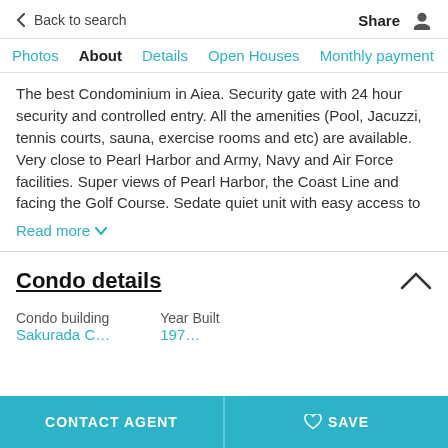< Back to search  Share
Photos  About  Details  Open Houses  Monthly payment
The best Condominium in Aiea. Security gate with 24 hour security and controlled entry. All the amenities (Pool, Jacuzzi, tennis courts, sauna, exercise rooms and etc) are available. Very close to Pearl Harbor and Army, Navy and Air Force facilities. Super views of Pearl Harbor, the Coast Line and facing the Golf Course. Sedate quiet unit with easy access to
Read more
Condo details
| Condo building | Year Built |
| --- | --- |
|  | 197… |